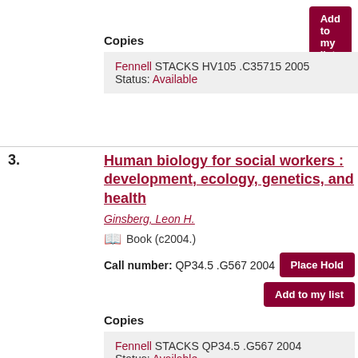Add to my list
Copies
Fennell STACKS HV105 .C35715 2005
Status: Available
3. Human biology for social workers : development, ecology, genetics, and health
Ginsberg, Leon H.
Book (c2004.)
Call number: QP34.5 .G567 2004
Place Hold
Add to my list
Copies
Fennell STACKS QP34.5 .G567 2004
Status: Available